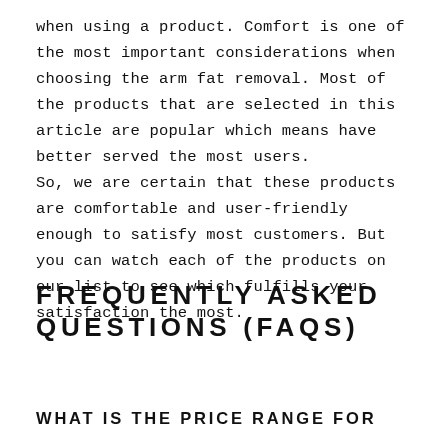when using a product. Comfort is one of the most important considerations when choosing the arm fat removal. Most of the products that are selected in this article are popular which means have better served the most users.
So, we are certain that these products are comfortable and user-friendly enough to satisfy most customers. But you can watch each of the products on our list to see which fulfills your satisfaction the most.
FREQUENTLY ASKED QUESTIONS (FAQS)
WHAT IS THE PRICE RANGE FOR